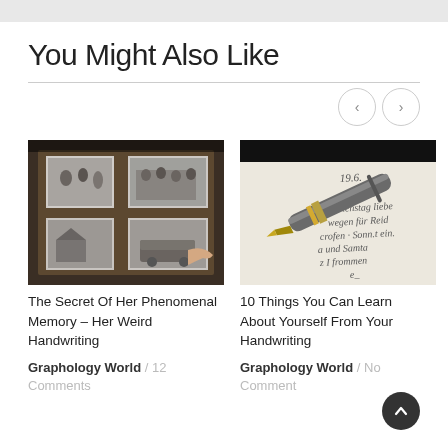You Might Also Like
[Figure (photo): Open photo album with black and white photographs]
The Secret Of Her Phenomenal Memory – Her Weird Handwriting
Graphology World / 12 Comments
[Figure (photo): Fountain pen resting on handwritten cursive letter]
10 Things You Can Learn About Yourself From Your Handwriting
Graphology World / No Comment